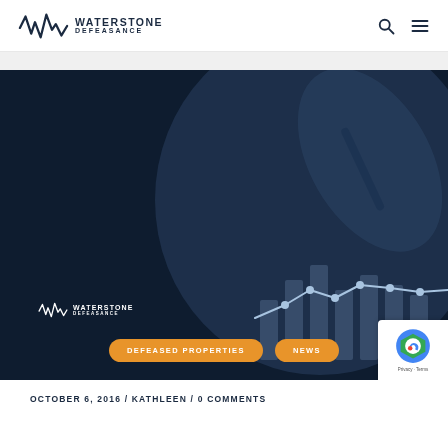WATERSTONE DEFEASANCE
[Figure (screenshot): Dark navy background hero image with a hand holding a pen over a financial chart (line graph with bar chart), overlaid with a translucent blue-gray circular graphic. Waterstone Defeasance logo in white at bottom-left. Two orange pill-shaped buttons labeled DEFEASED PROPERTIES and NEWS at bottom. reCAPTCHA privacy badge at bottom-right corner.]
OCTOBER 6, 2016 / KATHLEEN / 0 COMMENTS